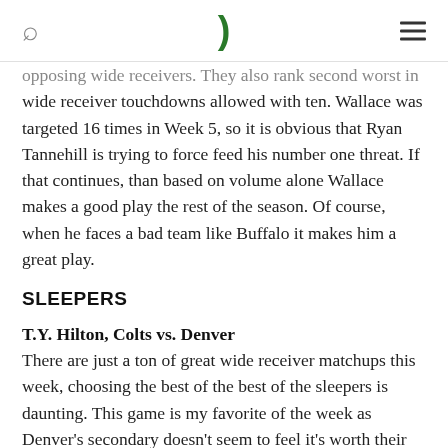[search icon] [Chalk logo] [menu icon]
opposing wide receivers. They also rank second worst in wide receiver touchdowns allowed with ten. Wallace was targeted 16 times in Week 5, so it is obvious that Ryan Tannehill is trying to force feed his number one threat. If that continues, than based on volume alone Wallace makes a good play the rest of the season. Of course, when he faces a bad team like Buffalo it makes him a great play.
SLEEPERS
T.Y. Hilton, Colts vs. Denver
There are just a ton of great wide receiver matchups this week, choosing the best of the best of the sleepers is daunting. This game is my favorite of the week as Denver's secondary doesn't seem to feel it's worth their time to play defense. We also know that this will be a shootout so Andrew Luck will be forced to air it out all game long. Hilton got a little dinged up against San Diego